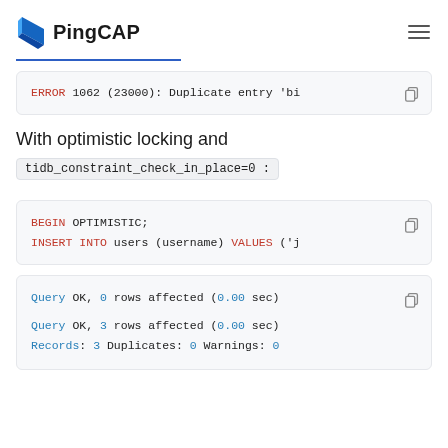PingCAP
ERROR 1062 (23000): Duplicate entry 'bi...
With optimistic locking and
tidb_constraint_check_in_place=0 :
BEGIN OPTIMISTIC;
INSERT INTO users (username) VALUES ('j...
Query OK, 0 rows affected (0.00 sec)

Query OK, 3 rows affected (0.00 sec)
Records: 3  Duplicates: 0  Warnings: 0